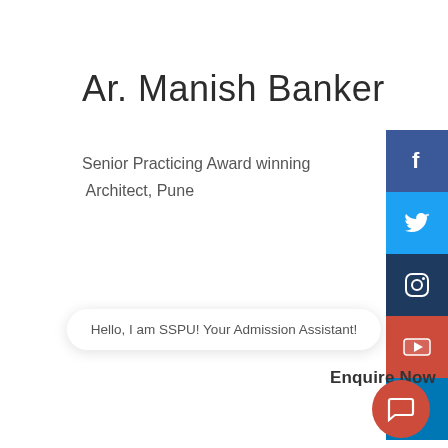Ar. Manish Banker
Senior Practicing Award winning Architect, Pune
[Figure (infographic): Social media icons sidebar: Facebook (blue), Twitter (cyan), Instagram (dark blue), YouTube (red), LinkedIn (blue)]
Hello, I am SSPU! Your Admission Assistant!
Enquire Now